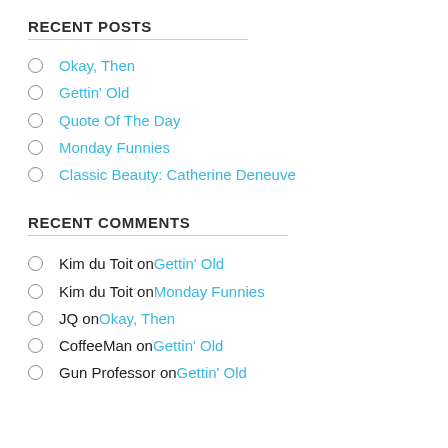RECENT POSTS
Okay, Then
Gettin' Old
Quote Of The Day
Monday Funnies
Classic Beauty: Catherine Deneuve
RECENT COMMENTS
Kim du Toit on Gettin' Old
Kim du Toit on Monday Funnies
JQ on Okay, Then
CoffeeMan on Gettin' Old
Gun Professor on Gettin' Old